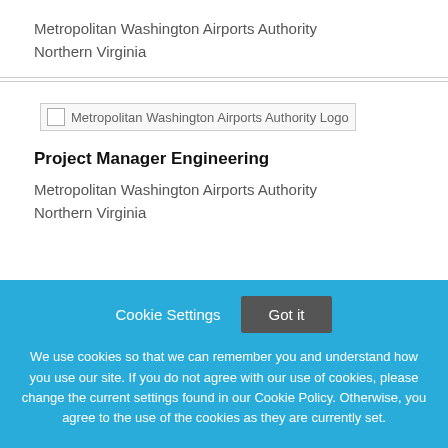Metropolitan Washington Airports Authority
Northern Virginia
[Figure (logo): Metropolitan Washington Airports Authority Logo (broken image placeholder)]
Project Manager Engineering
Metropolitan Washington Airports Authority
Northern Virginia
Cookie Settings   Got it

We use cookies so that we can remember you and understand how you use our site. If you do not agree with our use of cookies, please change the current settings found in our Cookie Policy. Otherwise, you agree to the use of the cookies as they are currently set.